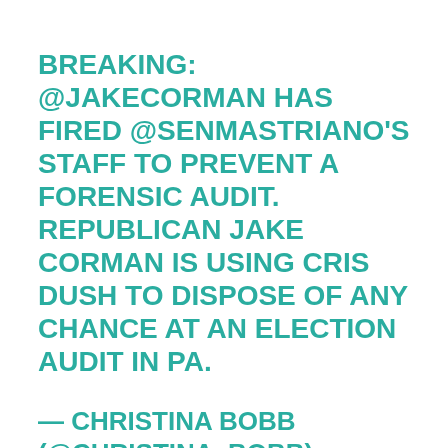BREAKING: @JAKECORMAN HAS FIRED @SENMASTRIANO’S STAFF TO PREVENT A FORENSIC AUDIT. REPUBLICAN JAKE CORMAN IS USING CRIS DUSH TO DISPOSE OF ANY CHANCE AT AN ELECTION AUDIT IN PA.
— CHRISTINA BOBB (@CHRISTINA_BOBB) AUGUST 20, 2021
The Gateway Pundit reported the “powers that be”  are preventing Mastriano from initiating the audit. Corman was